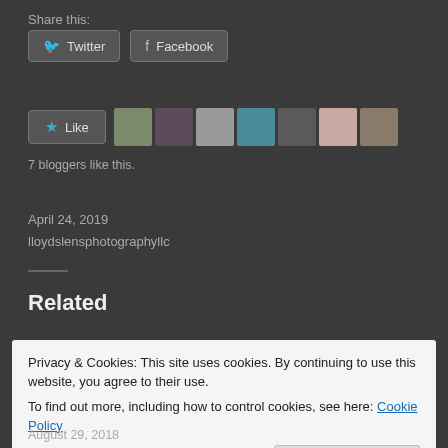Share this:
Twitter   Facebook
[Figure (other): Like button with star icon and 7 blogger avatar thumbnails]
7 bloggers like this.
April 24, 2019
lloydslensphotographyllc
Related
Privacy & Cookies: This site uses cookies. By continuing to use this website, you agree to their use.
To find out more, including how to control cookies, see here: Cookie Policy
Close and accept
August 29, 2018